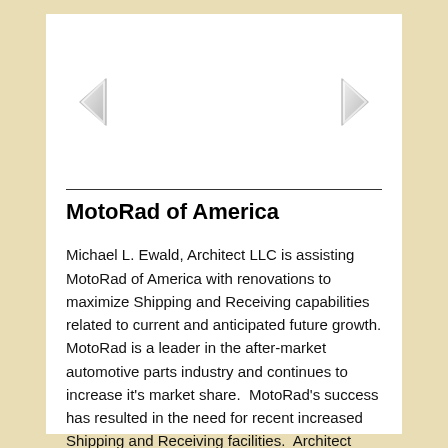[Figure (other): Navigation arrows: left chevron and right chevron for carousel/slideshow navigation]
MotoRad of America
Michael L. Ewald, Architect LLC is assisting MotoRad of America with renovations to maximize Shipping and Receiving capabilities related to current and anticipated future growth. MotoRad is a leader in the after-market automotive parts industry and continues to increase it's market share.  MotoRad's success has resulted in the need for recent increased Shipping and Receiving facilities.  Architect Mike Ewald is coordinating the comprehensive conversion of a 58,000 SF former retail building into new MotoRad Warehouse Space.